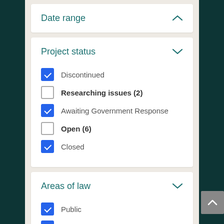Date range
Project status
Discontinued
Researching issues (2)
Awaiting Government Response
Open (6)
Closed
Areas of law
Public
Courts and Dispute Resolution